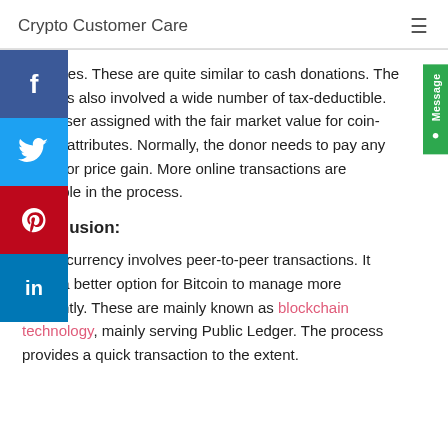Crypto Customer Care
attributes. These are quite similar to cash donations. The process also involved a wide number of tax-deductible. Appraiser assigned with the fair market value for coin-based attributes. Normally, the donor needs to pay any taxes for price gain. More online transactions are available in the process.
Conclusion:
Cryptocurrency involves peer-to-peer transactions. It gives a better option for Bitcoin to manage more efficiently. These are mainly known as blockchain technology, mainly serving Public Ledger. The process provides a quick transaction to the extent.